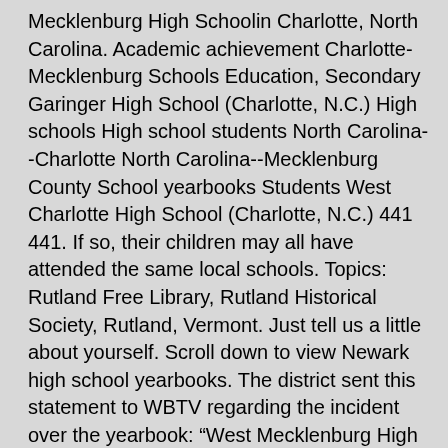Mecklenburg High Schoolin Charlotte, North Carolina. Academic achievement Charlotte-Mecklenburg Schools Education, Secondary Garinger High School (Charlotte, N.C.) High schools High school students North Carolina--Charlotte North Carolina--Mecklenburg County School yearbooks Students West Charlotte High School (Charlotte, N.C.) 441 441. If so, their children may all have attended the same local schools. Topics: Rutland Free Library, Rutland Historical Society, Rutland, Vermont. Just tell us a little about yourself. Scroll down to view Newark high school yearbooks. The district sent this statement to WBTV regarding the incident over the yearbook: “West Mecklenburg High School … West Rutland High School Yearbooks. Large collection of old high school yearbooks on the Internet. Whether you want to capture the whole year with a high school yearbook or show your pride with class jewelry, apparel and keepsakes, Jostens is the graduation destination for all your senior gear at West Mecklenburg High School. Older Class of 1973 Class of 1974 Class of 1975 Class of 1976 Class of 1977 Class of 1978 Class of 1979 Class of 1980 ... Regina High School ... Click here for help navigating to your yearbook. The site contractor continues to install underground storm water